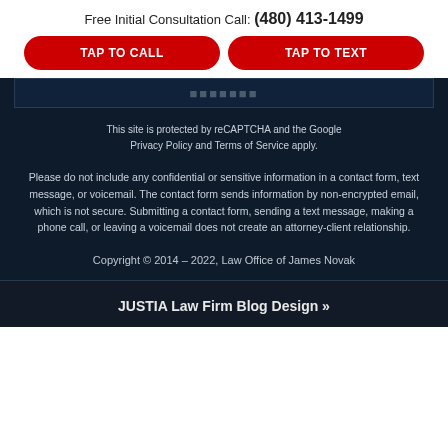Free Initial Consultation Call: (480) 413-1499
TAP TO CALL
TAP TO TEXT
This site is protected by reCAPTCHA and the Google Privacy Policy and Terms of Service apply.
Please do not include any confidential or sensitive information in a contact form, text message, or voicemail. The contact form sends information by non-encrypted email, which is not secure. Submitting a contact form, sending a text message, making a phone call, or leaving a voicemail does not create an attorney-client relationship.
Copyright © 2014 – 2022, Law Office of James Novak
JUSTIA Law Firm Blog Design »